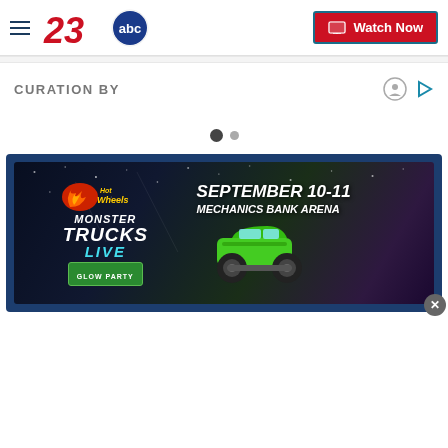23abc — Watch Now
CURATION BY
[Figure (screenshot): Pagination dots — one active (dark), one inactive (grey)]
[Figure (infographic): Hot Wheels Monster Trucks Live Glow Party advertisement banner. Text: SEPTEMBER 10-11 MECHANICS BANK ARENA. Features Hot Wheels logo, Monster Trucks Live branding, Glow Party badge, and green monster truck image on dark starry background.]